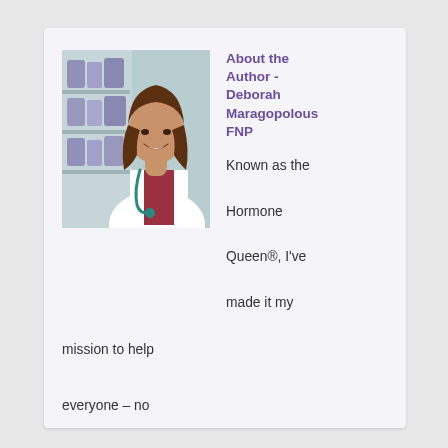[Figure (photo): Photo of Deborah Maragopolous FNP — a woman with long brown wavy hair wearing a white lab coat and teal stethoscope, standing in front of shelves with medical/supplement products.]
About the Author - Deborah Maragopolous FNP
Known as the Hormone Queen®, I've made it my mission to help everyone – no matter their age – balance their